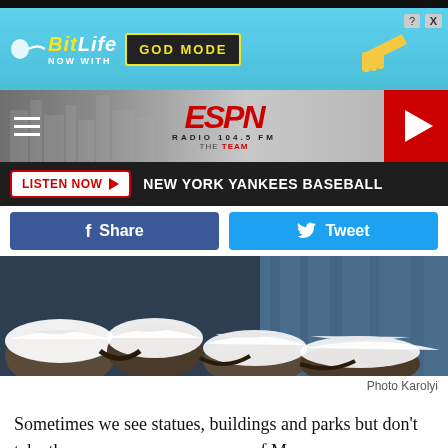[Figure (screenshot): BitLife advertisement banner: 'BitLife NOW WITH GOD MODE' on cyan background with cartoon hand pointing]
[Figure (logo): ESPN Radio 104.5 FM The Team header with hamburger menu, ESPN logo in red, and red play button on right]
LISTEN NOW  NEW YORK YANKEES BASEBALL
[Figure (screenshot): Facebook Share button (dark blue) and Twitter Tweet button (light blue)]
[Figure (photo): Snowy rocks and icy landscape photo]
Photo Karolyi
Sometimes we see statues, buildings and parks but don't take th... of Moses...
[Figure (screenshot): BitLife advertisement banner overlaying bottom of article text: 'BitLife NOW WITH GOD MODE' on cyan background]